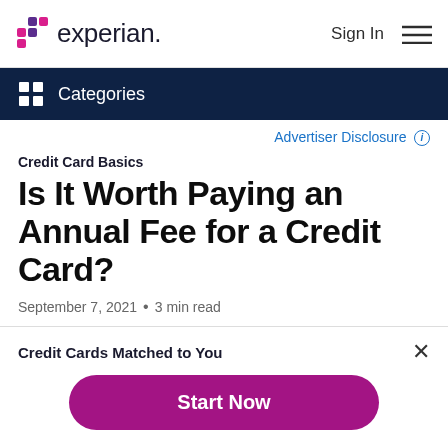Experian — Sign In [menu]
Categories
Advertiser Disclosure ⓘ
Credit Card Basics
Is It Worth Paying an Annual Fee for a Credit Card?
September 7, 2021 • 3 min read
By Taylor Medine
Credit Cards Matched to You
Start Now